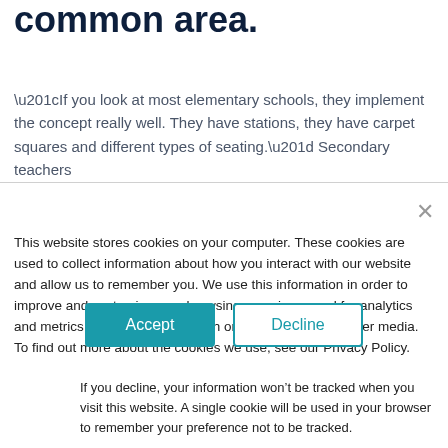common area.
“If you look at most elementary schools, they implement the concept really well. They have stations, they have carpet squares and different types of seating.” Secondary teachers
This website stores cookies on your computer. These cookies are used to collect information about how you interact with our website and allow us to remember you. We use this information in order to improve and customize your browsing experience and for analytics and metrics about our visitors both on this website and other media. To find out more about the cookies we use, see our Privacy Policy.
If you decline, your information won’t be tracked when you visit this website. A single cookie will be used in your browser to remember your preference not to be tracked.